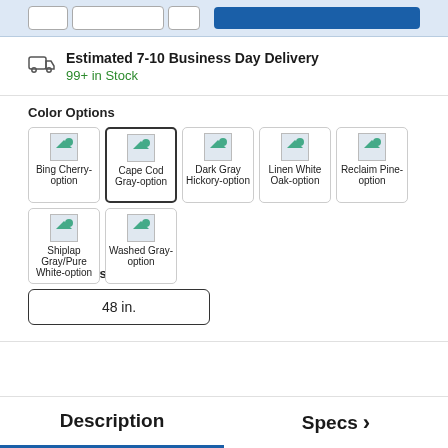[Figure (screenshot): Top UI bar with buttons and blue action button, light blue background]
Estimated 7-10 Business Day Delivery
99+ in Stock
Color Options
Bing Cherry-option
Cape Cod Gray-option
Dark Gray Hickory-option
Linen White Oak-option
Reclaim Pine-option
Shiplap Gray/Pure White-option
Washed Gray-option
Size Options
48 in.
Description
Specs